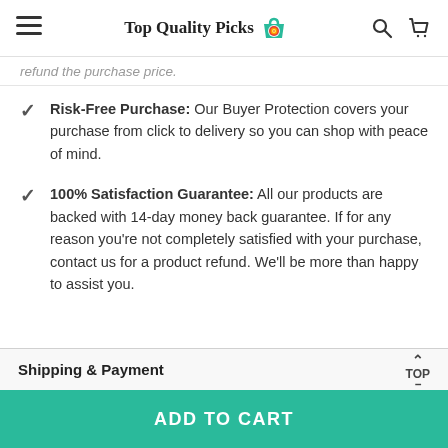Top Quality Picks
refund the purchase price.
Risk-Free Purchase: Our Buyer Protection covers your purchase from click to delivery so you can shop with peace of mind.
100% Satisfaction Guarantee: All our products are backed with 14-day money back guarantee. If for any reason you’re not completely satisfied with your purchase, contact us for a product refund. We’ll be more than happy to assist you.
Shipping & Payment
TOP